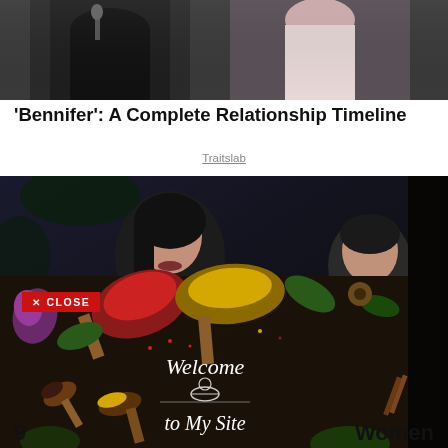[Figure (photo): Partial photo of two people, a man in dark suit and a woman in light dress, cropped at top, celebrity photo]
'Bennifer': A Complete Relationship Timeline
Traitslab
[Figure (photo): Composite layered image: background shows two people (woman with dark hair and child), overlaid with a spices/welcome to my site advertisement image in dark background with colorful spices in wooden spoons and text 'Welcome to My Site'. A red CLOSE button overlay is visible. Bottom left shows number 9, bottom right shows word Women.]